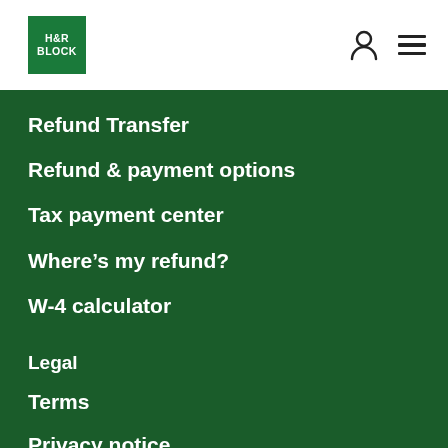[Figure (logo): H&R Block green square logo with white text]
Refund Transfer
Refund & payment options
Tax payment center
Where’s my refund?
W-4 calculator
Legal
Terms
Privacy notice
MetaBank privacy notice